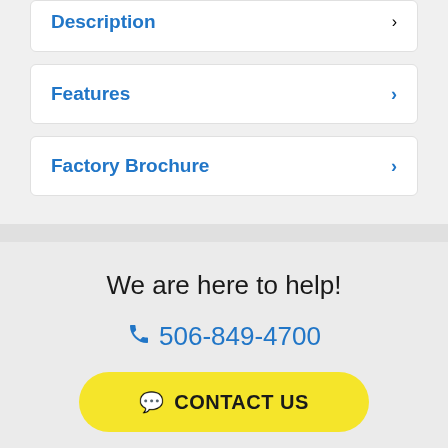Description
Features
Factory Brochure
We are here to help!
506-849-4700
CONTACT US